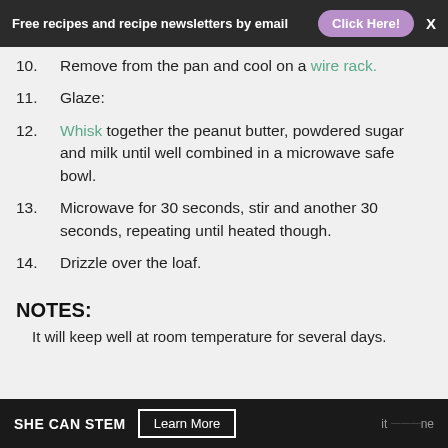Free recipes and recipe newsletters by email  Click Here!  X
10. Remove from the pan and cool on a wire rack.
11. Glaze:
12. Whisk together the peanut butter, powdered sugar and milk until well combined in a microwave safe bowl.
13. Microwave for 30 seconds, stir and another 30 seconds, repeating until heated though.
14. Drizzle over the loaf.
NOTES:
It will keep well at room temperature for several days.
SHE CAN STEM  Learn More